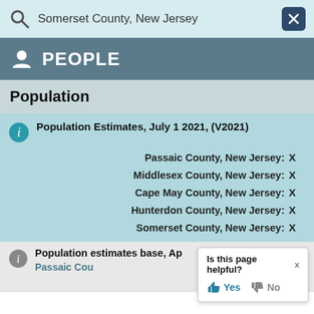Somerset County, New Jersey
PEOPLE
Population
Population Estimates, July 1 2021, (V2021)
Passaic County, New Jersey: X
Middlesex County, New Jersey: X
Cape May County, New Jersey: X
Hunterdon County, New Jersey: X
Somerset County, New Jersey: X
Population estimates base, Ap
Passaic Cou
Is this page helpful? x
Yes  No